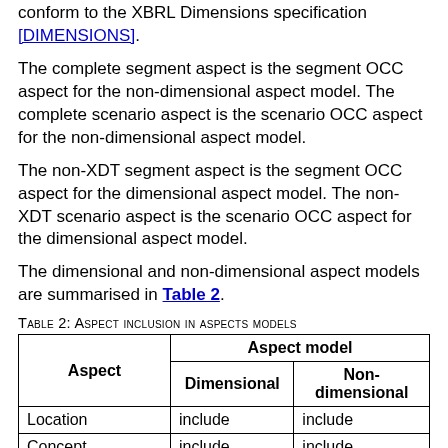conform to the XBRL Dimensions specification [DIMENSIONS].
The complete segment aspect is the segment OCC aspect for the non-dimensional aspect model. The complete scenario aspect is the scenario OCC aspect for the non-dimensional aspect model.
The non-XDT segment aspect is the segment OCC aspect for the dimensional aspect model. The non-XDT scenario aspect is the scenario OCC aspect for the dimensional aspect model.
The dimensional and non-dimensional aspect models are summarised in Table 2.
Table 2: Aspect inclusion in aspects models
| Aspect | Dimensional | Non-dimensional |
| --- | --- | --- |
| Location | include | include |
| Concept | include | include |
| Entity identifier | include | include |